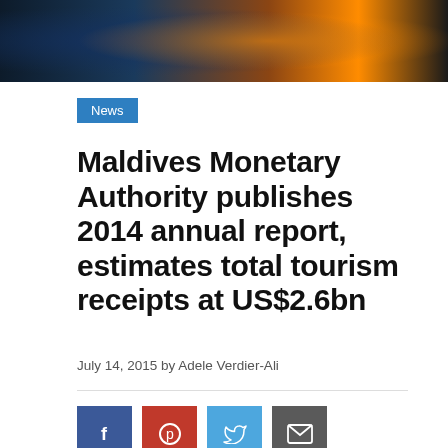[Figure (photo): Aerial night photo of a coastal/resort area with warm orange and blue lighting]
News
Maldives Monetary Authority publishes 2014 annual report, estimates total tourism receipts at US$2.6bn
July 14, 2015 by Adele Verdier-Ali
[Figure (infographic): Social sharing buttons: Facebook, Pinterest, Twitter, Email]